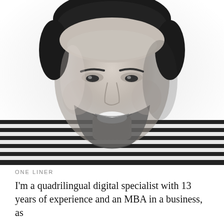[Figure (photo): Black and white headshot photo of a smiling young man with a beard, wearing a striped shirt. The photo is cropped close showing his face and upper shoulders.]
ONE LINER
I'm a quadrilingual digital specialist with 13 years of experience and an MBA in a business, as